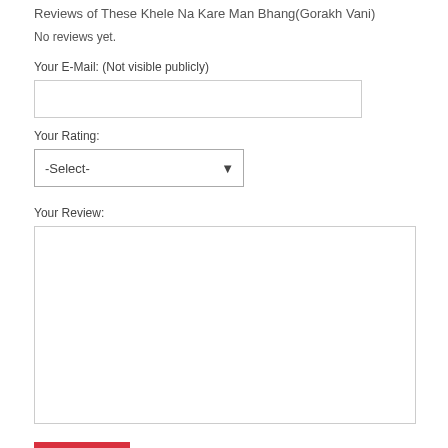Reviews of These Khele Na Kare Man Bhang(Gorakh Vani)
No reviews yet.
Your E-Mail: (Not visible publicly)
Your Rating:
Your Review:
Submit